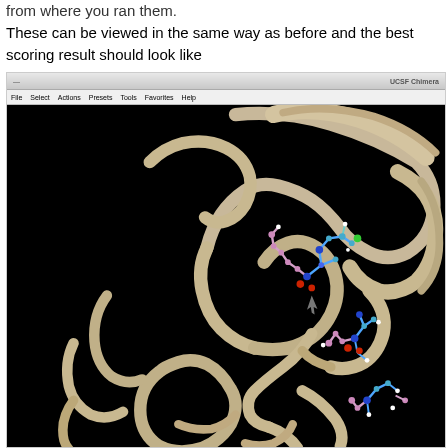from where you ran them.
These can be viewed in the same way as before and the best scoring result should look like
[Figure (screenshot): UCSF Chimera application window showing a 3D protein structure with ribbon/cartoon representation (tan/beige alpha helices and loops) on a black background, with a bound ligand shown in ball-and-stick style (blue, pink, red, green atoms) docked in the protein binding site. The window has a title bar showing 'UCSF Chimera' and a menu bar with File, Select, Actions, Presets, Tools, Favorites, Help.]